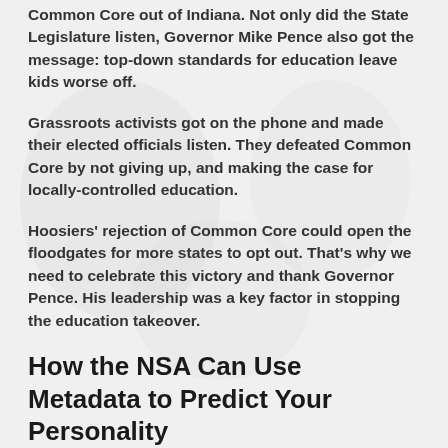Common Core out of Indiana. Not only did the State Legislature listen, Governor Mike Pence also got the message: top-down standards for education leave kids worse off.
Grassroots activists got on the phone and made their elected officials listen. They defeated Common Core by not giving up, and making the case for locally-controlled education.
Hoosiers' rejection of Common Core could open the floodgates for more states to opt out. That's why we need to celebrate this victory and thank Governor Pence. His leadership was a key factor in stopping the education takeover.
How the NSA Can Use Metadata to Predict Your Personality